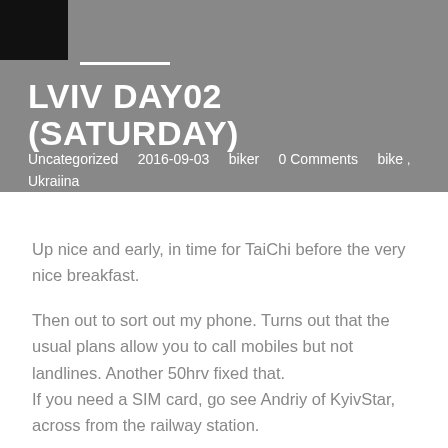LVIV DAY02 (SATURDAY)
Uncategorized   2016-09-03   biker   0 Comments   bike , Ukraiina
Up nice and early, in time for TaiChi before the very nice breakfast.
Then out to sort out my phone. Turns out that the usual plans allow you to call mobiles but not landlines. Another 50hrv fixed that.
If you need a SIM card, go see Andriy of KyivStar, across from the railway station.